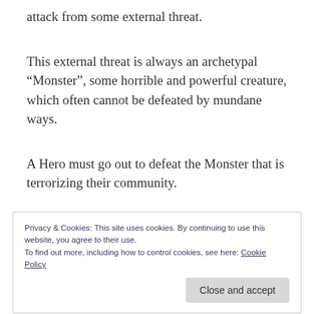attack from some external threat.
This external threat is always an archetypal “Monster”, some horrible and powerful creature, which often cannot be defeated by mundane ways.
A Hero must go out to defeat the Monster that is terrorizing their community.
The Hero confronts and slays the Monster, which typically results in marriage, wealth and social
Privacy & Cookies: This site uses cookies. By continuing to use this website, you agree to their use.
To find out more, including how to control cookies, see here: Cookie Policy
confronting the horrors of reality.